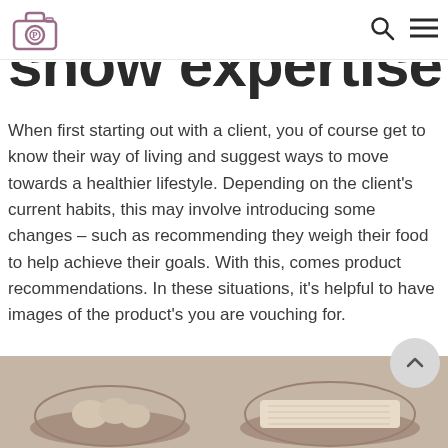Photography blog logo, search icon, menu icon
show expertise
When first starting out with a client, you of course get to know their way of living and suggest ways to move towards a healthier lifestyle. Depending on the client's current habits, this may involve introducing some changes – such as recommending they weigh their food to help achieve their goals. With this, comes product recommendations. In these situations, it's helpful to have images of the product's you are vouching for.
[Figure (photo): Bowl of eggs and bowl of oats/grains on a grey surface, food photography style]